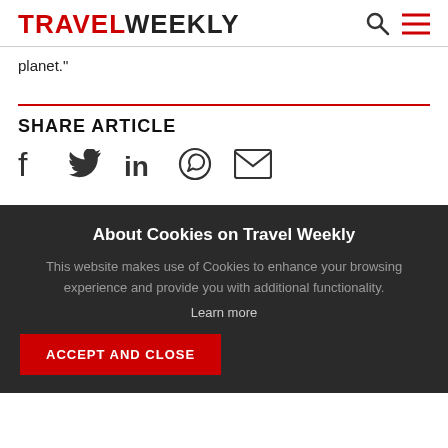TRAVELWEEKLY
planet."
SHARE ARTICLE
[Figure (infographic): Social share icons: Facebook, Twitter, LinkedIn, WhatsApp, Email]
About Cookies on Travel Weekly
This website makes use of Cookies to enhance your browsing experience and provide you with additional functionality.
Learn more
ACCEPT AND CLOSE